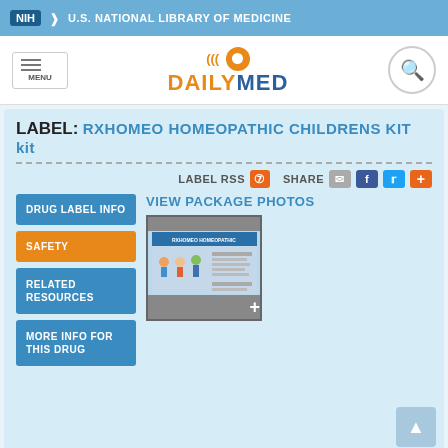NIH  U.S. NATIONAL LIBRARY OF MEDICINE
[Figure (logo): DailyMed logo with pill icon and menu/search buttons]
LABEL: RXHOMEO HOMEOPATHIC CHILDRENS KIT kit
LABEL RSS  SHARE
VIEW PACKAGE PHOTOS
[Figure (screenshot): Thumbnail of RXHOMEO Homeopathic Childrens Kit package label with children illustrations and text]
DRUG LABEL INFO
SAFETY
RELATED RESOURCES
MORE INFO FOR THIS DRUG